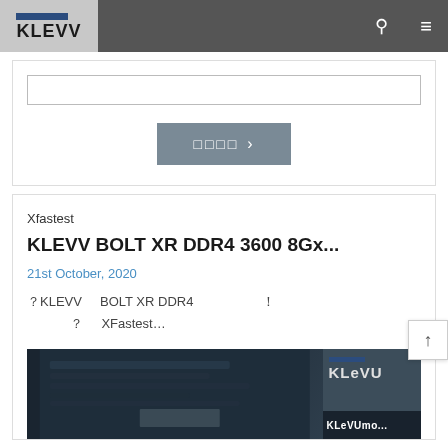KLEVV
□□□□ >
Xfastest
KLEVV BOLT XR DDR4 3600 8Gx...   21st October, 2020
？KLEVV　　BOLT XR DDR4　　　　　　　　　　！
？　　　XFastest…
[Figure (photo): Photo of KLEVV BOLT XR DDR4 RAM modules with KLEVV logo overlay]